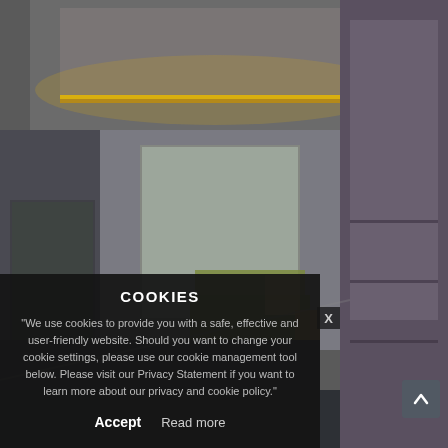[Figure (photo): Interior room photo showing a modern living area with recessed ceiling lighting with warm LED strips, large sliding glass doors/windows, a green sofa, dark countertop, and wood-paneled walls/cabinets.]
COOKIES
"We use cookies to provide you with a safe, effective and user-friendly website. Should you want to change your cookie settings, please use our cookie management tool below. Please visit our Privacy Statement if you want to learn more about our privacy and cookie policy."
Accept   Read more